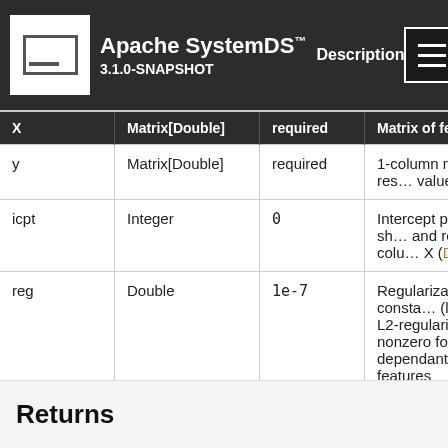Apache SystemDS™ 3.1.0-SNAPSHOT Description
| Name | Type | Default | Description |
| --- | --- | --- | --- |
| X | Matrix[Double] | required | Matrix of feature vectors. |
| y | Matrix[Double] | required | 1-column matrix of response values. |
| icpt | Integer | 0 | Intercept presence, shifting and rescaling the columns of X (Details) |
| reg | Double | 1e-7 | Regularization constant (lambda) for L2-regularization. set to nonzero for highly dependant/sparse/numerous features |
| verbose | Boolean | TRUE | If TRUE print messages activated |
Returns